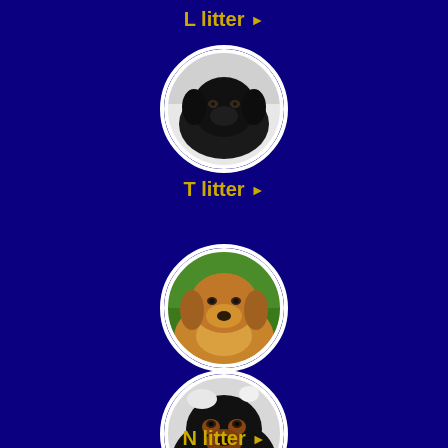L litter ▶
[Figure (photo): Circular photo of a black Labrador dog face on white/snowy background]
T litter ▶
[Figure (photo): Circular photo of a golden retriever dog on green grass background]
A litter ▶
[Figure (photo): Circular photo of a black and tan Rottweiler dog on white background]
N litter ▶